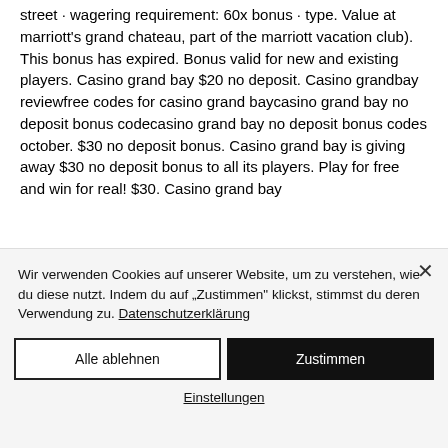street · wagering requirement: 60x bonus · type. Value at marriott's grand chateau, part of the marriott vacation club). This bonus has expired. Bonus valid for new and existing players. Casino grand bay $20 no deposit. Casino grandbay reviewfree codes for casino grand baycasino grand bay no deposit bonus codecasino grand bay no deposit bonus codes october. $30 no deposit bonus. Casino grand bay is giving away $30 no deposit bonus to all its players. Play for free and win for real! $30. Casino grand bay
Wir verwenden Cookies auf unserer Website, um zu verstehen, wie du diese nutzt. Indem du auf „Zustimmen" klickst, stimmst du deren Verwendung zu. Datenschutzerklärung
Alle ablehnen
Zustimmen
Einstellungen